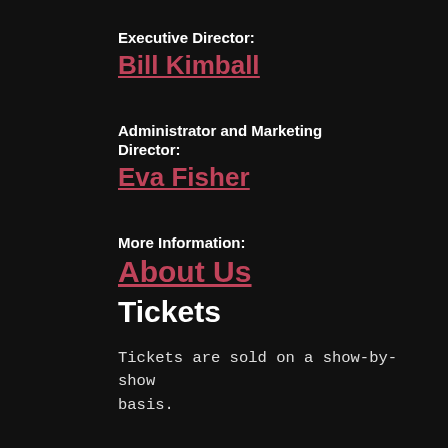Executive Director:
Bill Kimball
Administrator and Marketing Director:
Eva Fisher
More Information:
About Us
Tickets
Tickets are sold on a show-by-show basis.